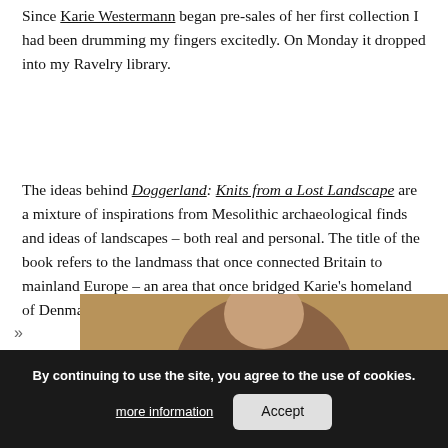Since Karie Westermann began pre-sales of her first collection I had been drumming my fingers excitedly. On Monday it dropped into my Ravelry library.
The ideas behind Doggerland: Knits from a Lost Landscape are a mixture of inspirations from Mesolithic archaeological finds and ideas of landscapes – both real and personal. The title of the book refers to the landmass that once connected Britain to mainland Europe – an area that once bridged Karie's homeland of Denmark, to her home now in the UK.
The patterns which make up the book are going to be released every couple of weeks (which delights me and makes me impatient in equal measure!) and the first of these is Ronaes
[Figure (photo): Partial photo of a person, appears to be a woman with brown hair, shown from approximately the shoulders up. Photo is cropped at the bottom of the page.]
By continuing to use the site, you agree to the use of cookies. more information Accept